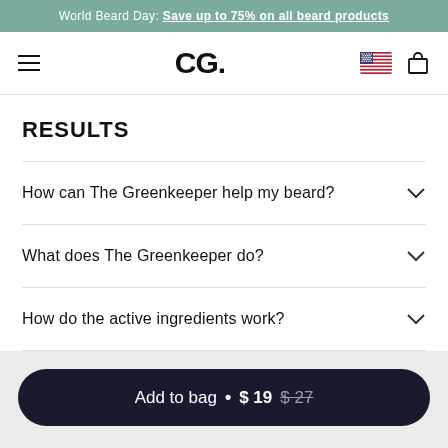World Beard Day: Save up to 75% on all beard products
[Figure (screenshot): Navigation bar with hamburger menu, CG. logo, US flag icon, and shopping bag icon]
RESULTS
How can The Greenkeeper help my beard?
What does The Greenkeeper do?
How do the active ingredients work?
Add to bag • $19 $27